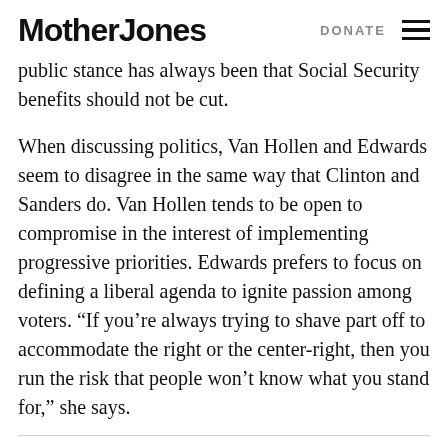Mother Jones   DONATE
public stance has always been that Social Security benefits should not be cut.
When discussing politics, Van Hollen and Edwards seem to disagree in the same way that Clinton and Sanders do. Van Hollen tends to be open to compromise in the interest of implementing progressive priorities. Edwards prefers to focus on defining a liberal agenda to ignite passion among voters. “If you’re always trying to shave part off to accommodate the right or the center-right, then you run the risk that people won’t know what you stand for,” she says.